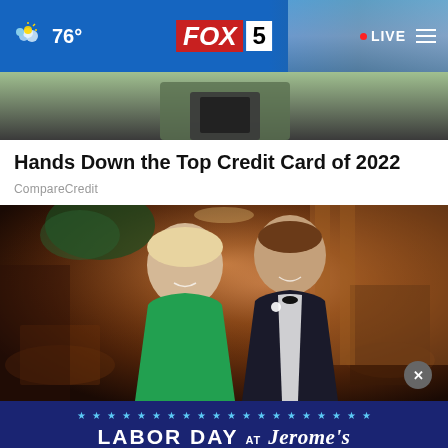76° FOX 5 LIVE
[Figure (photo): Partial image of a person holding a camera/phone, cropped at torso level]
Hands Down the Top Credit Card of 2022
CompareCredit
[Figure (photo): A woman in a green dress and a man in a tuxedo smiling together at a formal event]
[Figure (infographic): LABOR DAY AT Jerome's advertisement banner with stars and dark blue background]